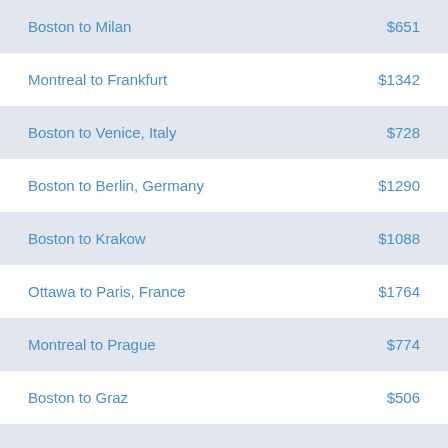| Route | Price |
| --- | --- |
| Boston to Milan | $651 |
| Montreal to Frankfurt | $1342 |
| Boston to Venice, Italy | $728 |
| Boston to Berlin, Germany | $1290 |
| Boston to Krakow | $1088 |
| Ottawa to Paris, France | $1764 |
| Montreal to Prague | $774 |
| Boston to Graz | $506 |